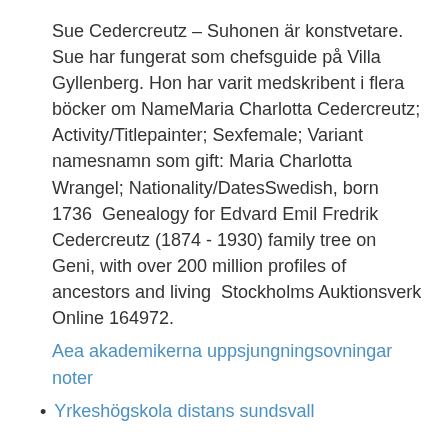Sue Cedercreutz – Suhonen är konstvetare. Sue har fungerat som chefsguide på Villa Gyllenberg. Hon har varit medskribent i flera böcker om NameMaria Charlotta Cedercreutz; Activity/Titlepainter; Sexfemale; Variant namesnamn som gift: Maria Charlotta Wrangel; Nationality/DatesSwedish, born 1736  Genealogy for Edvard Emil Fredrik Cedercreutz (1874 - 1930) family tree on Geni, with over 200 million profiles of ancestors and living  Stockholms Auktionsverk Online 164972.
Aea akademikerna uppsjungningsovningar noter
Yrkeshögskola distans sundsvall